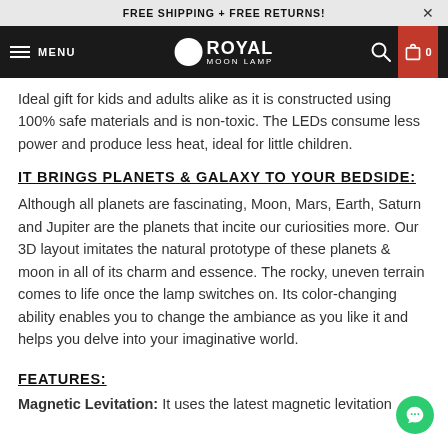FREE SHIPPING + FREE RETURNS!
MENU | ROYAL MOON LAMP | 0
Ideal gift for kids and adults alike as it is constructed using 100% safe materials and is non-toxic. The LEDs consume less power and produce less heat, ideal for little children.
IT BRINGS PLANETS & GALAXY TO YOUR BEDSIDE:
Although all planets are fascinating, Moon, Mars, Earth, Saturn and Jupiter are the planets that incite our curiosities more. Our 3D layout imitates the natural prototype of these planets & moon in all of its charm and essence. The rocky, uneven terrain comes to life once the lamp switches on. Its color-changing ability enables you to change the ambiance as you like it and helps you delve into your imaginative world.
FEATURES:
Magnetic Levitation: It uses the latest magnetic levitation